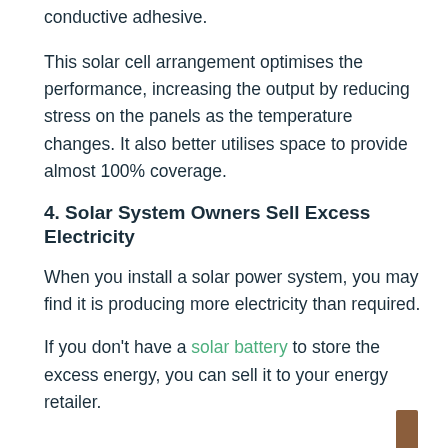conductive adhesive.
This solar cell arrangement optimises the performance, increasing the output by reducing stress on the panels as the temperature changes. It also better utilises space to provide almost 100% coverage.
4. Solar System Owners Sell Excess Electricity
When you install a solar power system, you may find it is producing more electricity than required.
If you don't have a solar battery to store the excess energy, you can sell it to your energy retailer.